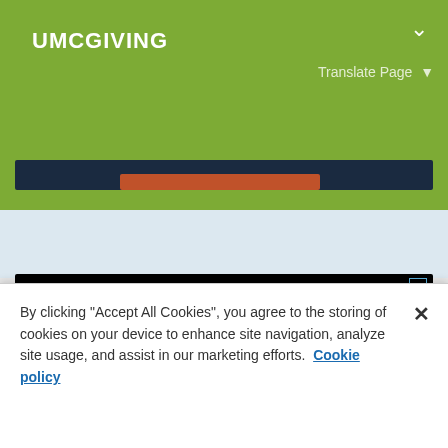UMCGIVING
Translate Page ▾
[Figure (screenshot): UMCGIVING website header with green background, dark navigation bar, and #IGive advertisement banner on black background with red border showing a cross icon and text 'A new way to inspire']
By clicking "Accept All Cookies", you agree to the storing of cookies on your device to enhance site navigation, analyze site usage, and assist in our marketing efforts.  Cookie policy
Cookies Settings
Accept All Cookies